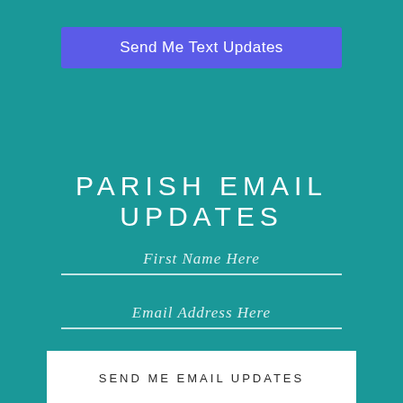[Figure (other): Blue/purple rounded button labeled 'Send Me Text Updates' on teal background]
PARISH EMAIL UPDATES
First Name Here
Email Address Here
[Figure (other): White rectangular button labeled 'SEND ME EMAIL UPDATES']